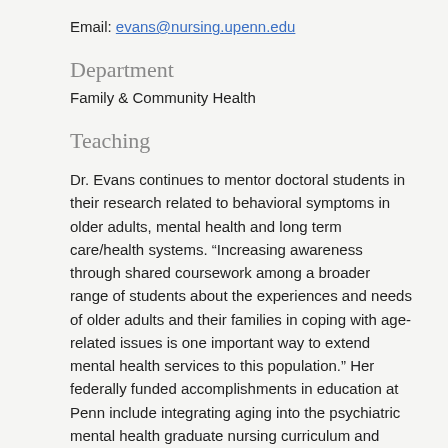Email: evans@nursing.upenn.edu
Department
Family & Community Health
Teaching
Dr. Evans continues to mentor doctoral students in their research related to behavioral symptoms in older adults, mental health and long term care/health systems. “Increasing awareness through shared coursework among a broader range of students about the experiences and needs of older adults and their families in coping with age-related issues is one important way to extend mental health services to this population.” Her federally funded accomplishments in education at Penn include integrating aging into the psychiatric mental health graduate nursing curriculum and developing the psychiatric mental health nurse practitioner…